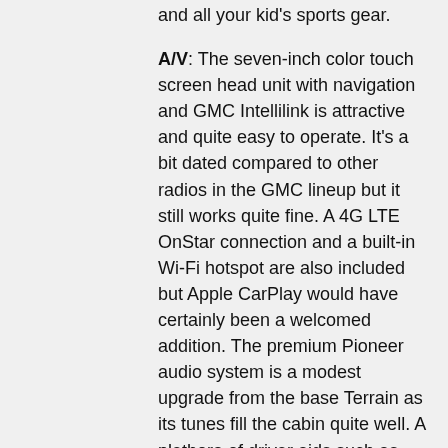and all your kid's sports gear.
A/V: The seven-inch color touch screen head unit with navigation and GMC Intellilink is attractive and quite easy to operate. It's a bit dated compared to other radios in the GMC lineup but it still works quite fine. A 4G LTE OnStar connection and a built-in Wi-Fi hotspot are also included but Apple CarPlay would have certainly been a welcomed addition. The premium Pioneer audio system is a modest upgrade from the base Terrain as its tunes fill the cabin quite well. A plethora of driver aids such as lane-departure warning, forward-collision alert and blind spot monitoring are also included and totally helpful.
Performance: The Terrain Denali got the memo from its older brother, the Yukon Denali with a healthy power increase over the base model. The Terrain Denali's 3.6L six-cylinder